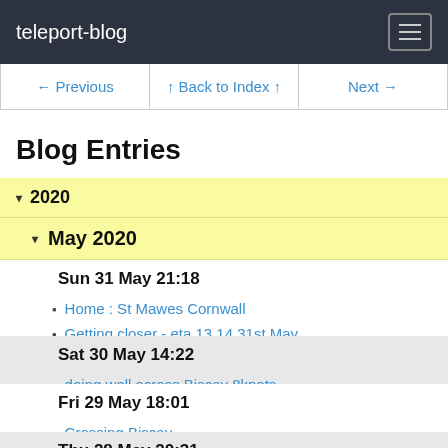teleport-blog
← Previous | ↑ Back to Index ↑ | Next →
Blog Entries
▾ 2020
▾ May 2020
Sun 31 May 21:18
Home : St Mawes Cornwall
Getting closer - eta 13.14 31st May
Nearly here :-)
Sat 30 May 14:22
doing well across Biscay 8knots
Fri 29 May 18:01
Crossing Biscay
Starting Biscay
Thu 28 May 20:31